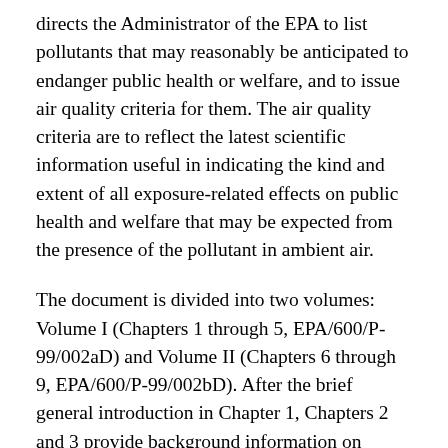directs the Administrator of the EPA to list pollutants that may reasonably be anticipated to endanger public health or welfare, and to issue air quality criteria for them. The air quality criteria are to reflect the latest scientific information useful in indicating the kind and extent of all exposure-related effects on public health and welfare that may be expected from the presence of the pollutant in ambient air.
The document is divided into two volumes: Volume I (Chapters 1 through 5, EPA/600/P-99/002aD) and Volume II (Chapters 6 through 9, EPA/600/P-99/002bD). After the brief general introduction in Chapter 1, Chapters 2 and 3 provide background information on physical and chemical properties of PM and related compounds; sources and emissions; atmospheric transport; transformation and fate of PM; methods for the collection and measurement of PM; and ambient air concentrations;